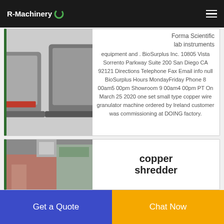R-Machinery
[Figure (photo): Lab instrument equipment photo, partially visible at top of card]
Forma Scientific lab instruments equipment and . BioSurplus Inc. 10805 Vista Sorrento Parkway Suite 200 San Diego CA 92121 Directions Telephone Fax Email info null BioSurplus Hours MondayFriday Phone 8 00am5 00pm Showroom 9 00am4 00pm PT On March 25 2020 one set small type copper wire granulator machine ordered by Ireland customer was commissioning at DOING factory.
[Figure (photo): Copper shredder machine photo]
copper shredder
Get a Quote
Chat Now